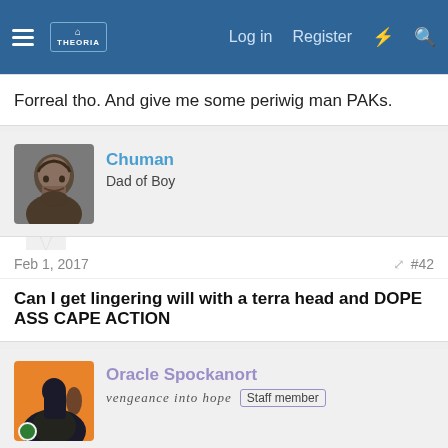Forum navigation bar with hamburger menu, logo, Log in, Register, lightning bolt, and search icons
Forreal tho. And give me some periwig man PAKs.
[Figure (photo): Avatar of user Chuman showing a bearded man (Kratos from God of War)]
Chuman
Dad of Boy
Feb 1, 2017   #42
Can I get lingering will with a terra head and DOPE ASS CAPE ACTION
[Figure (photo): Avatar of user Oracle Spockanort showing a silhouette scene, with green online indicator dot]
Oracle Spockanort
vengeance into hope   Staff member
Feb 1, 2017   #43
Chuman said: ↑
Can I get lingering will with a terra head and DOPE ASS CAPE